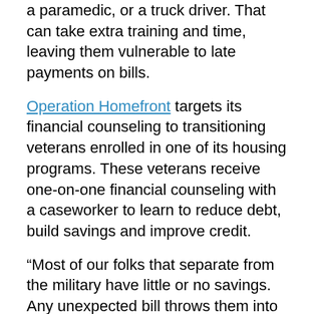a paramedic, or a truck driver. That can take extra training and time, leaving them vulnerable to late payments on bills.
Operation Homefront targets its financial counseling to transitioning veterans enrolled in one of its housing programs. These veterans receive one-on-one financial counseling with a caseworker to learn to reduce debt, build savings and improve credit.
“Most of our folks that separate from the military have little or no savings. Any unexpected bill throws them into absolute crisis,” Thomas said.“You’ve got to establish a budget, and you’ve got to stick to your budget.”.
The Department of Veterans Affairs has resources for financial education, including counselors who can help